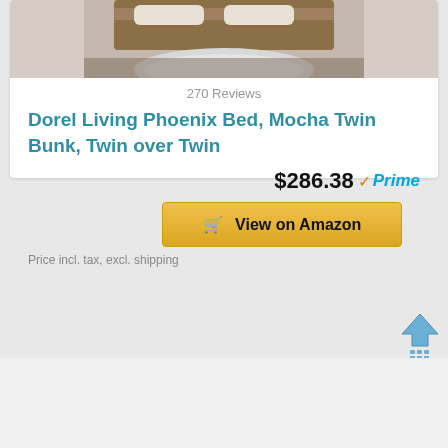[Figure (photo): Product photo of a bed with a fluffy rug on the floor, partially cropped at top]
270 Reviews
Dorel Living Phoenix Bed, Mocha Twin Bunk, Twin over Twin
$286.38 ✓Prime
View on Amazon
Price incl. tax, excl. shipping
Last update on 2020-12-06 / Affiliate links / Images from Amazon Product Advertising API